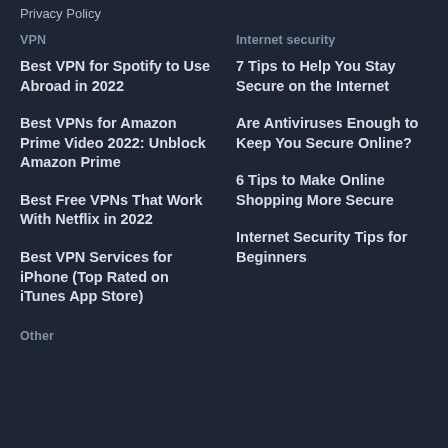Privacy Policy
VPN
Internet security
Best VPN for Spotify to Use Abroad in 2022
7 Tips to Help You Stay Secure on the Internet
Best VPNs for Amazon Prime Video 2022: Unblock Amazon Prime
Are Antiviruses Enough to Keep You Secure Online?
Best Free VPNs That Work With Netflix in 2022
6 Tips to Make Online Shopping More Secure
Best VPN Services for iPhone (Top Rated on iTunes App Store)
Internet Security Tips for Beginners
Other